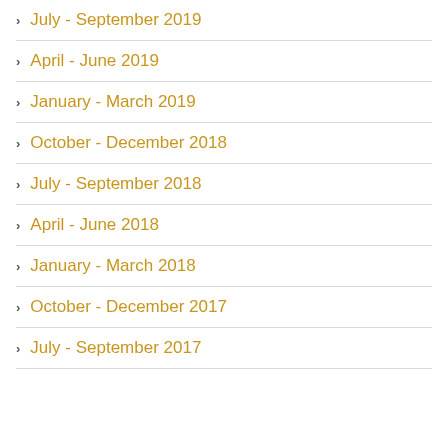July - September 2019
April - June 2019
January - March 2019
October - December 2018
July - September 2018
April - June 2018
January - March 2018
October - December 2017
July - September 2017